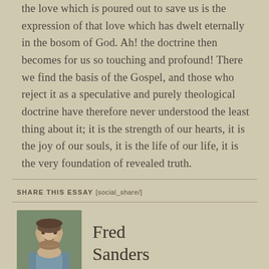the love which is poured out to save us is the expression of that love which has dwelt eternally in the bosom of God. Ah! the doctrine then becomes for us so touching and profound! There we find the basis of the Gospel, and those who reject it as a speculative and purely theological doctrine have therefore never understood the least thing about it; it is the strength of our hearts, it is the joy of our souls, it is the life of our life, it is the very foundation of revealed truth.
SHARE THIS ESSAY [social_share/]
Fred Sanders